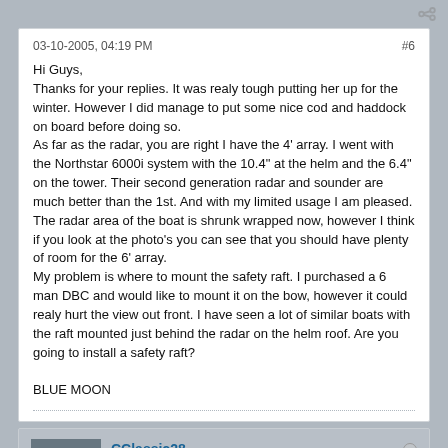03-10-2005, 04:19 PM  #6
Hi Guys,
Thanks for your replies. It was realy tough putting her up for the winter. However I did manage to put some nice cod and haddock on board before doing so.
As far as the radar, you are right I have the 4' array. I went with the Northstar 6000i system with the 10.4" at the helm and the 6.4" on the tower. Their second generation radar and sounder are much better than the 1st. And with my limited usage I am pleased. The radar area of the boat is shrunk wrapped now, however I think if you look at the photo's you can see that you should have plenty of room for the 6' array.
My problem is where to mount the safety raft. I purchased a 6 man DBC and would like to mount it on the bow, however it could realy hurt the view out front. I have seen a lot of similar boats with the raft mounted just behind the radar on the helm roof. Are you going to install a safety raft?

BLUE MOON
CClassic28
member